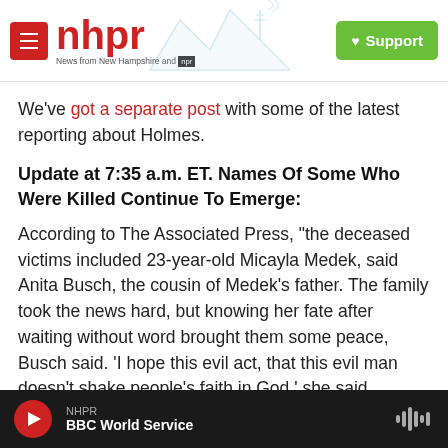[Figure (logo): NHPR logo with red menu button, red nhpr text, News from New Hampshire and NPR tagline, mountain/antenna silhouette, and green Support button]
We've got a separate post with some of the latest reporting about Holmes.
Update at 7:35 a.m. ET. Names Of Some Who Were Killed Continue To Emerge:
According to The Associated Press, "the deceased victims included 23-year-old Micayla Medek, said Anita Busch, the cousin of Medek's father. The family took the news hard, but knowing her fate after waiting without word brought them some peace, Busch said. 'I hope this evil act, that this evil man doesn't shake people's faith in God,' she said.
NHPR BBC World Service